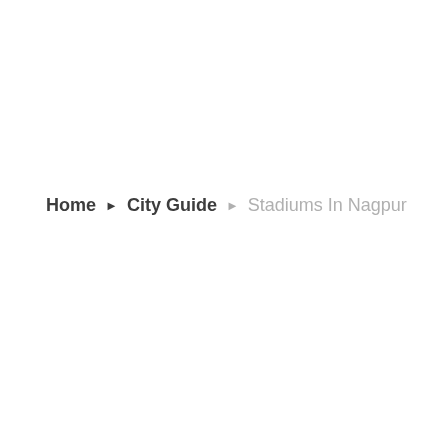Home ▶ City Guide ▶ Stadiums In Nagpur